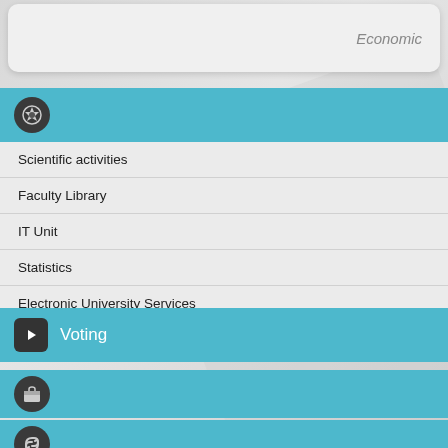Economic
[Figure (screenshot): Teal header bar with a dark circular icon featuring a gear/star symbol]
Scientific activities
Faculty Library
IT Unit
Statistics
Electronic University Services
Voting
[Figure (screenshot): Teal bar with briefcase/suitcase icon]
Courses
[Figure (screenshot): Teal bar with chain link icon (partial, cut off at bottom)]